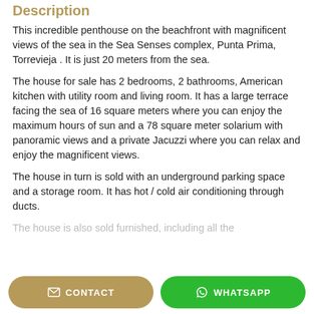Description
This incredible penthouse on the beachfront with magnificent views of the sea in the Sea Senses complex, Punta Prima, Torrevieja . It is just 20 meters from the sea.
The house for sale has 2 bedrooms, 2 bathrooms, American kitchen with utility room and living room. It has a large terrace facing the sea of 16 square meters where you can enjoy the maximum hours of sun and a 78 square meter solarium with panoramic views and a private Jacuzzi where you can relax and enjoy the magnificent views.
The house in turn is sold with an underground parking space and a storage room. It has hot / cold air conditioning through ducts.
The house is also sold furnished, including all the...